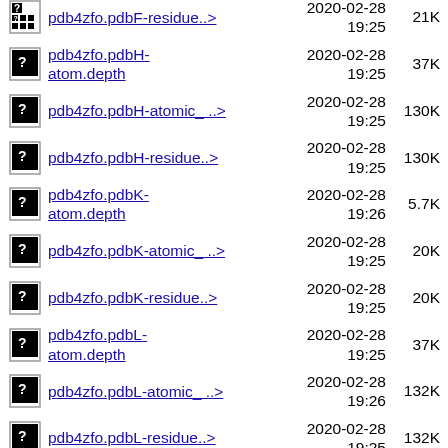pdb4zfo.pdbF-residue..> 2020-02-28 19:25 21K
pdb4zfo.pdbH-atom.depth 2020-02-28 19:25 37K
pdb4zfo.pdbH-atomic_..> 2020-02-28 19:25 130K
pdb4zfo.pdbH-residue..> 2020-02-28 19:25 130K
pdb4zfo.pdbK-atom.depth 2020-02-28 19:26 5.7K
pdb4zfo.pdbK-atomic_..> 2020-02-28 19:25 20K
pdb4zfo.pdbK-residue..> 2020-02-28 19:25 20K
pdb4zfo.pdbL-atom.depth 2020-02-28 19:25 37K
pdb4zfo.pdbL-atomic_..> 2020-02-28 19:26 132K
pdb4zfo.pdbL-residue..> 2020-02-28 19:25 132K
pdb4zfp-atom.depth 2020-02-28 19:25 22K
pdb4zfp-atomic_depth_..> 2020-02-28 80K